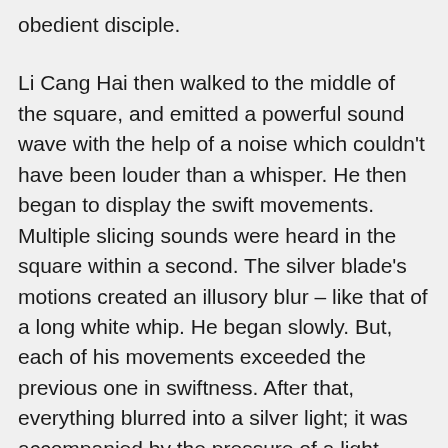obedient disciple.
Li Cang Hai then walked to the middle of the square, and emitted a powerful sound wave with the help of a noise which couldn't have been louder than a whisper. He then began to display the swift movements. Multiple slicing sounds were heard in the square within a second. The silver blade's motions created an illusory blur – like that of a long white whip. He began slowly. But, each of his movements exceeded the previous one in swiftness. After that, everything blurred into a silver light; it was accompanied by the pressure of a light breeze.
Shi Mu watched with great concentration.